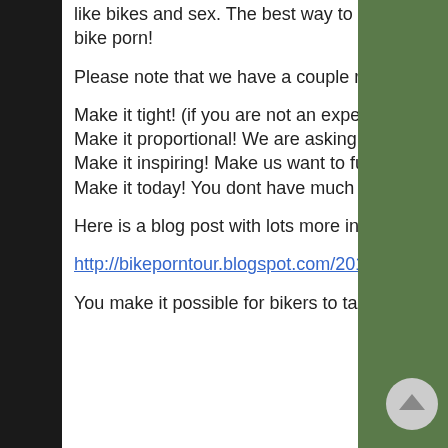like bikes and sex. The best way to respond to any of these feelings is to Make a bike porn!
Please note that we have a couple requests for filmmakers:
Make it tight! (if you are not an experienced editor than make it short!)
Make it proportional! We are asking for a 16×9 aspect ratio.
Make it inspiring! Make us want to fuck, or bike… or fuck bikes!
Make it today! You dont have much time left, DO IT!
Here is a blog post with lots more info including where to send your movie!
http://bikeporntour.blogspot.com/2010/03/call-for-entries-bike-porn-4-play.html
You make it possible for bikers to talk about sex, you make it...